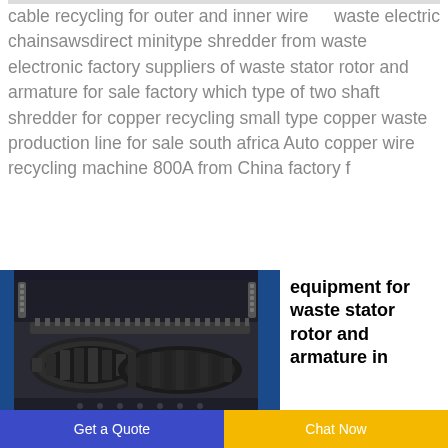waste electric cable recycling for outer and inner wire chainsawsdirect minitype shredder from waste electronic factory suppliers of waste stator rotor and armature for sale factory which type of two shaft shredder for copper recycling small type copper waste production line for sale south africa Auto copper wire recycling machine 800A from China factory f
[Figure (photo): Close-up photograph of industrial copper wire recycling machine with dark metal rollers and shredding components, set against blue metal housing]
equipment for waste stator rotor and armature in
Get a Quote   Chat Now